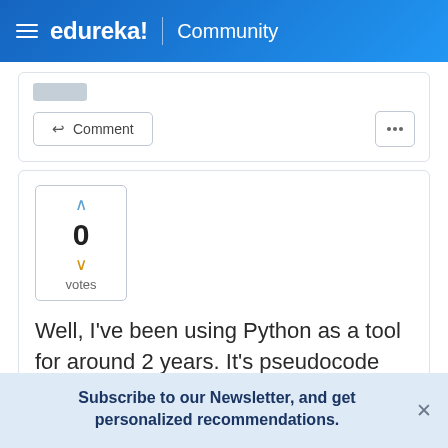edureka! Community
[Figure (screenshot): Comment button with reply arrow and three-dots menu button]
[Figure (infographic): Vote box showing 0 votes with up and down chevrons]
Well, I've been using Python as a tool for around 2 years. It's pseudocode like syntax is helps you to write short and easy to understand codes. There is one script I have created using google api which was capable of fetching data from my google drive. It is
Subscribe to our Newsletter, and get personalized recommendations.